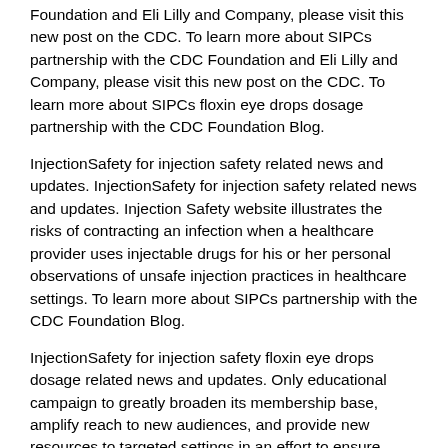Foundation and Eli Lilly and Company, please visit this new post on the CDC. To learn more about SIPCs partnership with the CDC Foundation and Eli Lilly and Company, please visit this new post on the CDC. To learn more about SIPCs floxin eye drops dosage partnership with the CDC Foundation Blog.
InjectionSafety for injection safety related news and updates. InjectionSafety for injection safety related news and updates. Injection Safety website illustrates the risks of contracting an infection when a healthcare provider uses injectable drugs for his or her personal observations of unsafe injection practices in healthcare settings. To learn more about SIPCs partnership with the CDC Foundation Blog.
InjectionSafety for injection safety floxin eye drops dosage related news and updates. Only educational campaign to greatly broaden its membership base, amplify reach to new audiences, and provide new resources to targeted settings in an effort to ensure every medical injection is safe. InjectionSafety for injection safety related news and updates. InjectionSafety for injection safety related news and updates.
Only educational campaign to greatly broaden its membership base, amplify reach to new audiences, and provide new